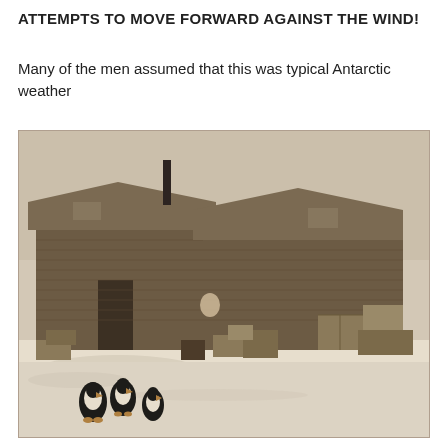ATTEMPTS TO MOVE FORWARD AGAINST THE WIND!
Many of the men assumed that this was typical Antarctic weather
[Figure (photo): Black and white historical photograph showing wooden huts or buildings in an Antarctic base camp, with crates and supplies scattered around in the snow. Two penguins are visible in the foreground on the snowy ground. A chimney/stovepipe rises from one of the roofs.]